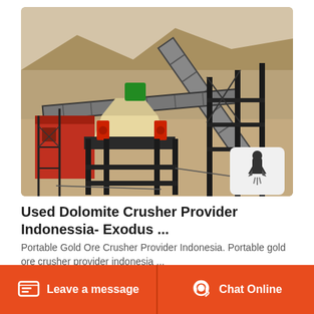[Figure (photo): Aerial view of a used dolomite crusher / cone crusher plant setup in an arid/desert environment with conveyor belts, red building structure, and scaffolding. Industrial mining equipment visible including a cone crusher with red hydraulic components and large cross-conveyor system.]
Used Dolomite Crusher Provider Indonessia- Exodus ...
Portable Gold Ore Crusher Provider Indonesia. Portable gold ore crusher provider indonesia ...
Leave a message  Chat Online